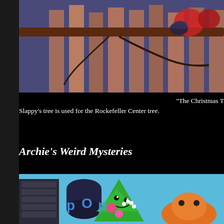[Figure (illustration): Animated cartoon scene showing characters on a branch with a city building background with orange/beige rectangles visible]
“The Christmas T... Slappy’s tree is used for the Rockefeller Center tree.
Archie's Weird Mysteries
[Figure (illustration): Animated cartoon scene showing a green Christmas tree character with a pink ornament, and an orange character, with a pop art style background]